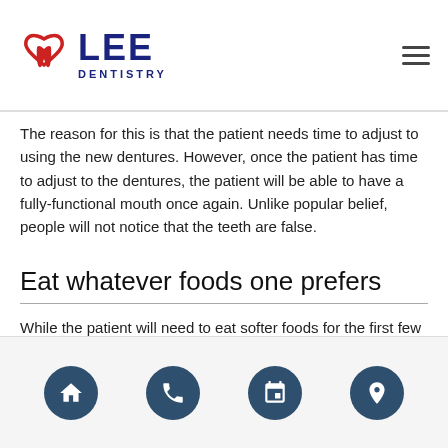LEE DENTISTRY
The reason for this is that the patient needs time to adjust to using the new dentures. However, once the patient has time to adjust to the dentures, the patient will be able to have a fully-functional mouth once again. Unlike popular belief, people will not notice that the teeth are false.
Eat whatever foods one prefers
While the patient will need to eat softer foods for the first few weeks after getting dentures, they will be able to eat their favorite foods with time. Once the patient adjusts to using and speaking with the
Navigation footer with home, phone, calendar, and location icons